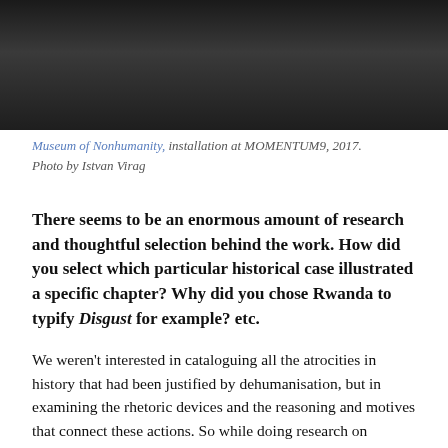[Figure (photo): Dark interior photograph of a museum installation, showing a dimly lit room with dark floor and walls. Partial view of an artwork or installation.]
Museum of Nonhumanity, installation at MOMENTUM9, 2017. Photo by Istvan Virag
There seems to be an enormous amount of research and thoughtful selection behind the work. How did you select which particular historical case illustrated a specific chapter? Why did you chose Rwanda to typify Disgust for example? etc.
We weren't interested in cataloguing all the atrocities in history that had been justified by dehumanisation, but in examining the rhetoric devices and the reasoning and motives that connect these actions. So while doing research on concrete cases, we started to think of key words that open up a specific viewpoint